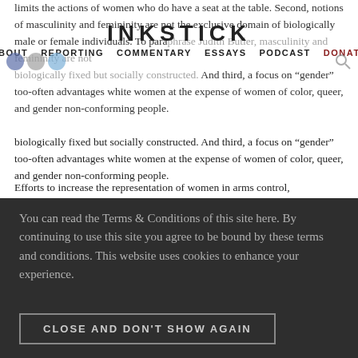INKSTICK | ABOUT | REPORTING | COMMENTARY | ESSAYS | PODCAST | DONATE
limits the actions of women who do have a seat at the table. Second, notions of masculinity and femininity are not the exclusive domain of biologically male or female individuals. To paraphrase Judith Butler, masculinity and femininity are not biologically fixed but socially constructed. And third, a focus on “gender” too-often advantages white women at the expense of women of color, queer, and gender non-conforming people.
Efforts to increase the representation of women in arms control, nonproliferation, and disarmament negotiations is
You can read the Terms & Conditions of this site here. By continuing to use this site you agree to be bound by these terms and conditions. This website uses cookies to enhance your experience.
CLOSE AND DON'T SHOW AGAIN